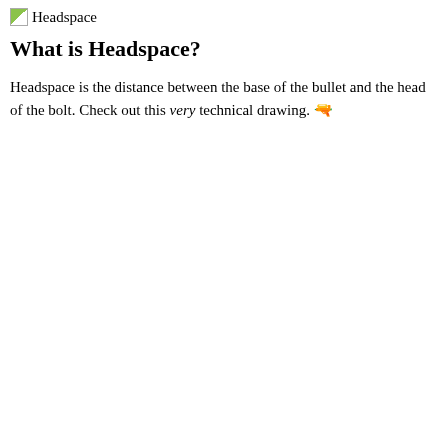[Figure (logo): Small image icon placeholder labeled 'Headspace' with a green/white thumbnail icon]
What is Headspace?
Headspace is the distance between the base of the bullet and the head of the bolt. Check out this very technical drawing. 🔫